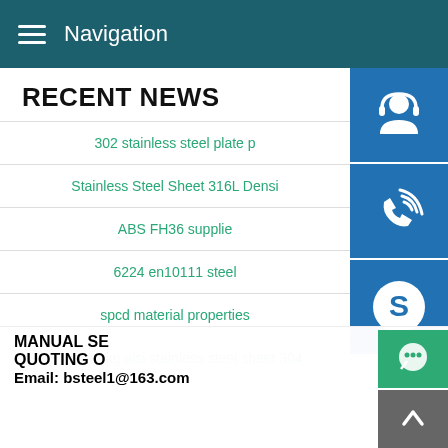Navigation
RECENT NEWS
302 stainless steel plate p
Stainless Steel Sheet 316L Densi
ABS FH36 supplie
6224 en10111 steel
spcd material properties
price per kg aisi stainless steel sheet 304
[Figure (photo): Customer service representative woman with headset, overlaid with blue icon buttons for support, phone, and Skype, and a popup banner showing MANUAL SE..., QUOTING O..., Email: bsteel1@163.com]
MANUAL SE
QUOTING O
Email: bsteel1@163.com